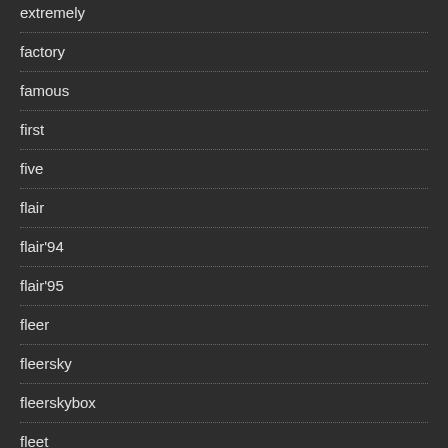extremely
factory
famous
first
five
flair
flair'94
flair'95
fleer
fleersky
fleerskybox
fleet
fred